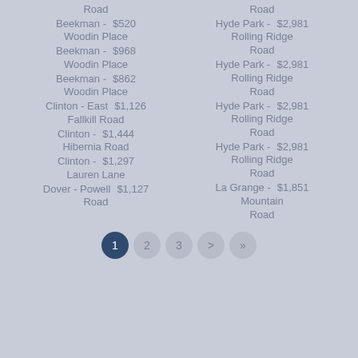Beekman - Woodin Place $520
Beekman - Woodin Place $968
Beekman - Woodin Place $862
Clinton - East Fallkill Road $1,126
Clinton - Hibernia Road $1,444
Clinton - Lauren Lane $1,297
Dover - Powell Road $1,127
Hyde Park - Rolling Ridge Road $2,981
Hyde Park - Rolling Ridge Road $2,981
Hyde Park - Rolling Ridge Road $2,981
Hyde Park - Rolling Ridge Road $2,981
La Grange - Mountain Road $1,851
Road (continuation)
Pagination: 1 2 3 > »